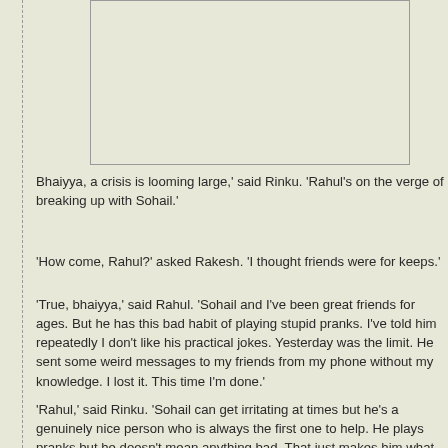[Figure (other): Blank rectangular image placeholder box]
Bhaiyya, a crisis is looming large,' said Rinku. 'Rahul's on the verge of breaking up with Sohail.'
'How come, Rahul?' asked Rakesh. 'I thought friends were for keeps.'
'True, bhaiyya,' said Rahul. 'Sohail and I've been great friends for ages. But he has this bad habit of playing stupid pranks. I've told him repeatedly I don't like his practical jokes. Yesterday was the limit. He sent some weird messages to my friends from my phone without my knowledge. I lost it. This time I'm done.'
'Rahul,' said Rinku. 'Sohail can get irritating at times but he's a genuinely nice person who is always the first one to help. He plays pranks but he doesn't mean anything bad. That just makes him what he is.'